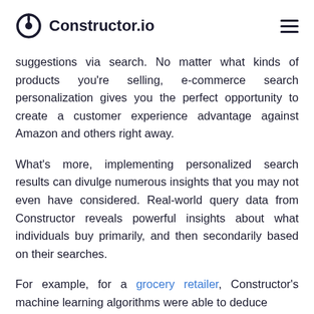Constructor.io
suggestions via search. No matter what kinds of products you’re selling, e-commerce search personalization gives you the perfect opportunity to create a customer experience advantage against Amazon and others right away.
What’s more, implementing personalized search results can divulge numerous insights that you may not even have considered. Real-world query data from Constructor reveals powerful insights about what individuals buy primarily, and then secondarily based on their searches.
For example, for a grocery retailer, Constructor’s machine learning algorithms were able to deduce